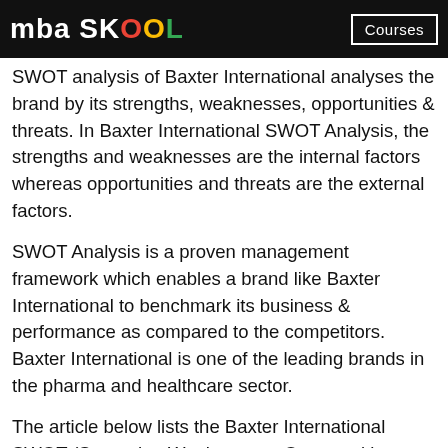mba SKOOL | Courses
SWOT analysis of Baxter International analyses the brand by its strengths, weaknesses, opportunities & threats. In Baxter International SWOT Analysis, the strengths and weaknesses are the internal factors whereas opportunities and threats are the external factors.
SWOT Analysis is a proven management framework which enables a brand like Baxter International to benchmark its business & performance as compared to the competitors. Baxter International is one of the leading brands in the pharma and healthcare sector.
The article below lists the Baxter International SWOT (Strengths, Weaknesses, Opportunities, Threats), top Baxter International competitors and includes its target market, segmentation, positioning & Unique Selling Proposition (USP).